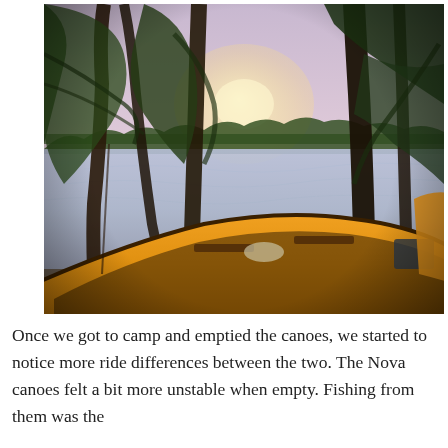[Figure (photo): Yellow canoe in the foreground on shore at dusk, with tall pine trees and a calm reflective lake in the background under a purple-pink sunset sky.]
Once we got to camp and emptied the canoes, we started to notice more ride differences between the two. The Nova canoes felt a bit more unstable when empty. Fishing from them was the